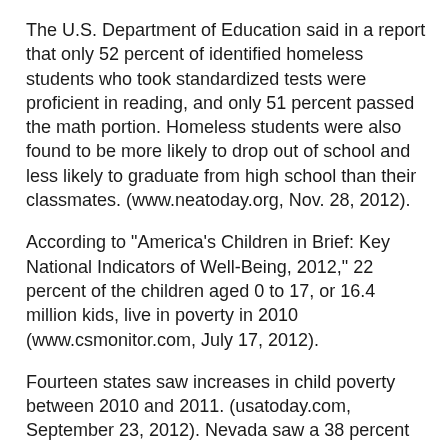The U.S. Department of Education said in a report that only 52 percent of identified homeless students who took standardized tests were proficient in reading, and only 51 percent passed the math portion. Homeless students were also found to be more likely to drop out of school and less likely to graduate from high school than their classmates. (www.neatoday.org, Nov. 28, 2012).
According to "America's Children in Brief: Key National Indicators of Well-Being, 2012," 22 percent of the children aged 0 to 17, or 16.4 million kids, live in poverty in 2010 (www.csmonitor.com, July 17, 2012).
Fourteen states saw increases in child poverty between 2010 and 2011. (usatoday.com, September 23, 2012). Nevada saw a 38 percent increase in child poverty over the past decade. (www.csmonitor.com, August 17, 2011).
A Yemeni boy shouts slogans as others gather in the northern province of Saada, Yemen, on Jan 23. The Yemeni human rights minister said the a US drone attack in Yemen